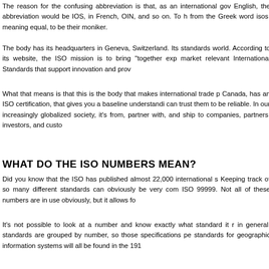The reason for the confusing abbreviation is that, as an international go... English, the abbreviation would be IOS, in French, OIN, and so on. To h... from the Greek word isos, meaning equal, to be their moniker.
The body has its headquarters in Geneva, Switzerland. Its standards... world. According to its website, the ISO mission is to bring "together exp... market relevant International Standards that support innovation and prov...
What that means is that this is the body that makes international trade p... Canada, has an ISO certification, that gives you a baseline understandi... can trust them to be reliable. In our increasingly globalized society, it's... from, partner with, and ship to companies, partners, investors, and custo...
WHAT DO THE ISO NUMBERS MEAN?
Did you know that the ISO has published almost 22,000 international s... Keeping track of so many different standards can obviously be very com... ISO 99999. Not all of these numbers are in use obviously, but it allows fo...
It's not possible to look at a number and know exactly what standard it r... in general, standards are grouped by number, so those specifications pe... standards for geographic information systems will all be found in the 191...